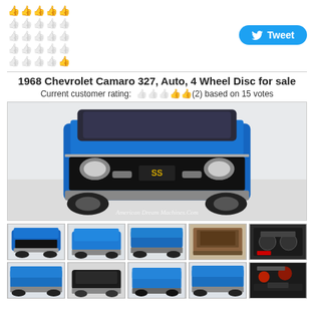[Figure (infographic): 5x5 grid of thumb-up emoji icons, first row all yellow/gold, rows 2-5 progressively fewer gold thumbs]
[Figure (other): Twitter Tweet button with bird icon]
1968 Chevrolet Camaro 327, Auto, 4 Wheel Disc for sale
Current customer rating: 👍👍👍👍👍(2) based on 15 votes
[Figure (photo): Front view of a 1968 Chevrolet Camaro SS in bright blue, with watermark American Dream Machines .Com]
[Figure (photo): Row of 5 thumbnail photos of the 1968 Chevrolet Camaro from various angles]
[Figure (photo): Row of 5 more thumbnail photos of the 1968 Chevrolet Camaro]